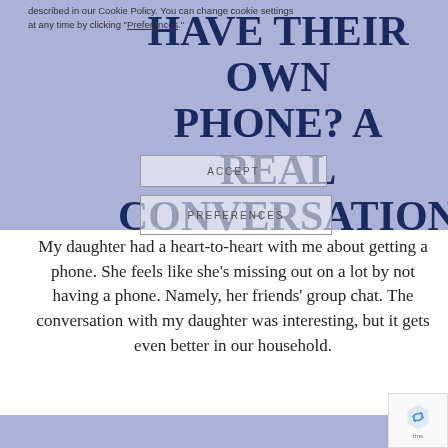described in our Cookie Policy. You can change cookie settings at any time by clicking "Preferences."
HAVE THEIR OWN PHONE? A REAL CONVERSATION
ACCEPT
PREFERENCES
My daughter had a heart-to-heart with me about getting a phone. She feels like she's missing out on a lot by not having a phone. Namely, her friends' group chat. The conversation with my daughter was interesting, but it gets even better in our household.